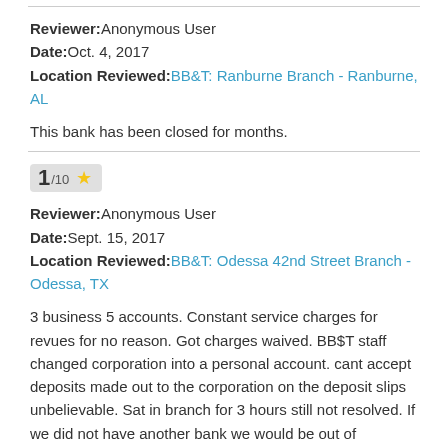Reviewer: Anonymous User
Date: Oct. 4, 2017
Location Reviewed: BB&T: Ranburne Branch - Ranburne, AL
This bank has been closed for months.
1/10 ★
Reviewer: Anonymous User
Date: Sept. 15, 2017
Location Reviewed: BB&T: Odessa 42nd Street Branch - Odessa, TX
3 business 5 accounts. Constant service charges for revues for no reason. Got charges waived. BB$T staff changed corporation into a personal account. cant accept deposits made out to the corporation on the deposit slips unbelievable. Sat in branch for 3 hours still not resolved. If we did not have another bank we would be out of business.